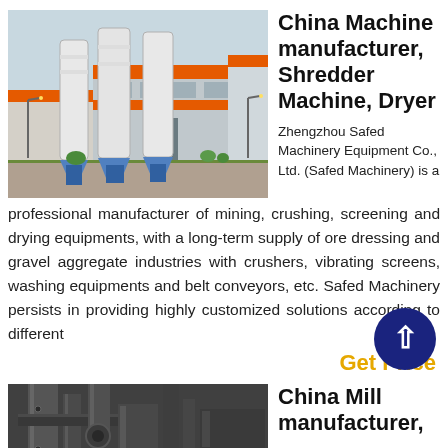[Figure (photo): Exterior view of a factory/plant facility with large silos, buildings with orange and grey cladding, and industrial equipment in a paved yard.]
China Machine manufacturer, Shredder Machine, Dryer
Zhengzhou Safed Machinery Equipment Co., Ltd. (Safed Machinery) is a professional manufacturer of mining, crushing, screening and drying equipments, with a long-term supply of ore dressing and gravel aggregate industries with crushers, vibrating screens, washing equipments and belt conveyors, etc. Safed Machinery persists in providing highly customized solutions according to different
Get Price
[Figure (photo): Interior or close-up view of industrial mill machinery with pipes and equipment.]
China Mill manufacturer,